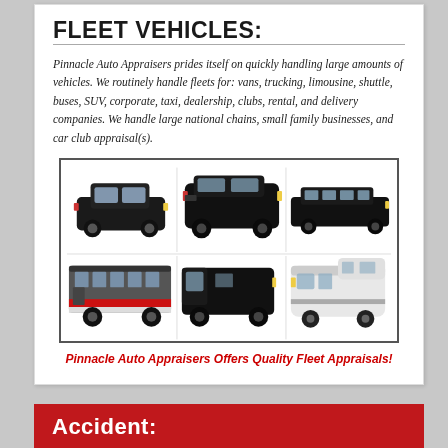FLEET VEHICLES:
Pinnacle Auto Appraisers prides itself on quickly handling large amounts of vehicles. We routinely handle fleets for: vans, trucking, limousine, shuttle, buses, SUV, corporate, taxi, dealership, clubs, rental, and delivery companies. We handle large national chains, small family businesses, and car club appraisal(s).
[Figure (photo): Collage of six fleet vehicles: black sedan (top-left), black SUV (top-center), black stretch limousine (top-right), large tour bus with red stripe (bottom-left), black cargo van (bottom-center), white shuttle bus (bottom-right).]
Pinnacle Auto Appraisers Offers Quality Fleet Appraisals!
Accident: